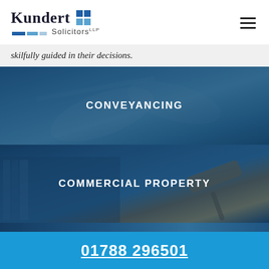[Figure (logo): Kundert Solicitors LLP logo with blue square graphic and horizontal bars]
skilfully guided in their decisions.
[Figure (photo): Conveyancing service tile with handshake photo and blue overlay, text CONVEYANCING]
[Figure (photo): Commercial Property service tile with gavel photo and blue overlay, text COMMERCIAL PROPERTY]
01788 296501